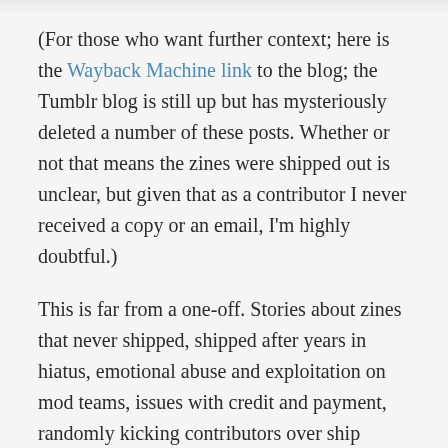(For those who want further context; here is the Wayback Machine link to the blog; the Tumblr blog is still up but has mysteriously deleted a number of these posts. Whether or not that means the zines were shipped out is unclear, but given that as a contributor I never received a copy or an email, I'm highly doubtful.)
This is far from a one-off. Stories about zines that never shipped, shipped after years in hiatus, emotional abuse and exploitation on mod teams, issues with credit and payment, randomly kicking contributors over ship discourse, and worse abound.